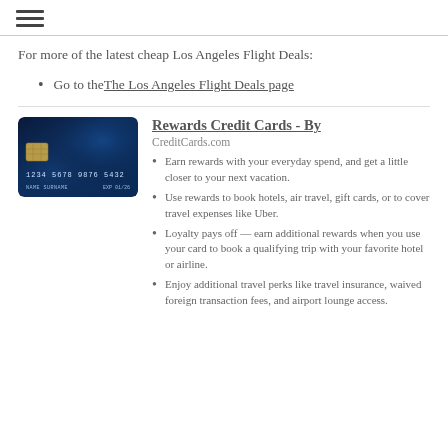≡
For more of the latest cheap Los Angeles Flight Deals:
Go to the The Los Angeles Flight Deals page
[Figure (photo): A dark blue rewards credit card with chip, showing number 1234 5678 9876 5432 and NAME SURNAME]
Rewards Credit Cards - By
CreditCards.com
Earn rewards with your everyday spend, and get a little closer to your next vacation.
Use rewards to book hotels, air travel, gift cards, or to cover travel expenses like Uber.
Loyalty pays off — earn additional rewards when you use your card to book a qualifying trip with your favorite hotel or airline.
Enjoy additional travel perks like travel insurance, waived foreign transaction fees, and airport lounge access.